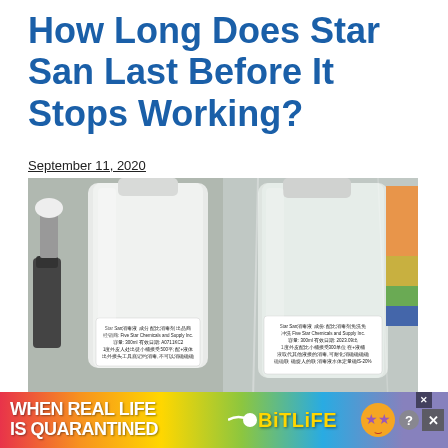How Long Does Star San Last Before It Stops Working?
September 11, 2020
[Figure (photo): Two white plastic bottles of Star San sanitizer with Chinese and English text labels, sitting on a surface with plastic packaging in the background.]
[Figure (screenshot): Advertisement banner for BitLife mobile game with rainbow gradient background, text reading 'WHEN REAL LIFE IS QUARANTINED', BitLife logo in yellow, and emoji icons of a star-eyed face with mask and thumbs up. Close/X buttons visible at top right.]